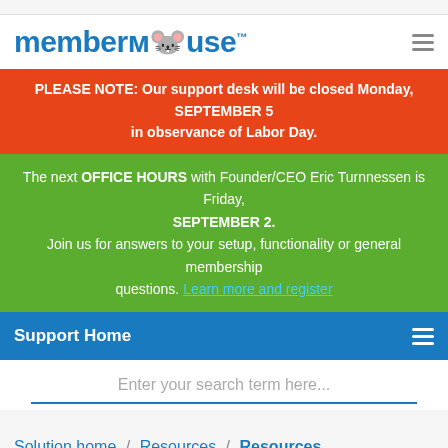[Figure (logo): MemberMouse logo with TM mark in blue]
PLEASE NOTE: Our support desk will be closed Monday, SEPTEMBER 5 in observance of Labor Day.
The next OFFICE HOURS with Founder/CEO Eric Turnnessen is Friday, SEPTEMBER 2. Join us for answers to your setup, functionality or general membership questions. Learn more and register
Support Home
Enter your search term here...
Solution home / Resources / Resources